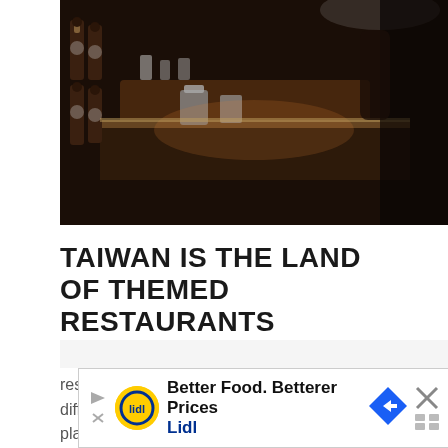[Figure (photo): Interior of a themed restaurant or bar showing a counter/bar area with bottles on a wall rack, various glassware, and metallic equipment on a dark counter, dimly lit with warm tones.]
TAIWAN IS THE LAND OF THEMED RESTAURANTS
It's no secret I have an obsession with themed restaurants, and in Taipei, you could eat out at a different one every day for month and not run out of places to try. They're so much fun!
[Figure (infographic): Advertisement banner for Lidl: 'Better Food. Betterer Prices / Lidl' with Lidl logo (yellow circle with blue text), a blue diamond arrow icon, and a close button.]